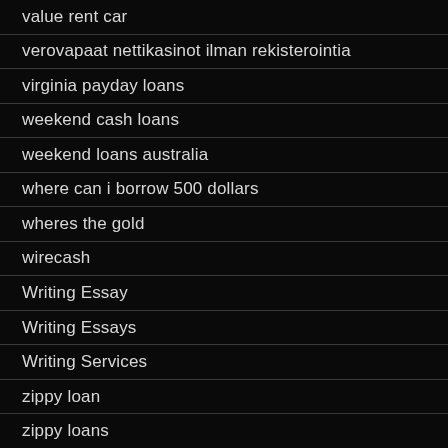value rent car
verovapaat nettikasinot ilman rekisterointia
virginia payday loans
weekend cash loans
weekend loans australia
where can i borrow 500 dollars
wheres the gold
wirecash
Writing Essay
Writing Essays
Writing Services
zippy loan
zippy loans